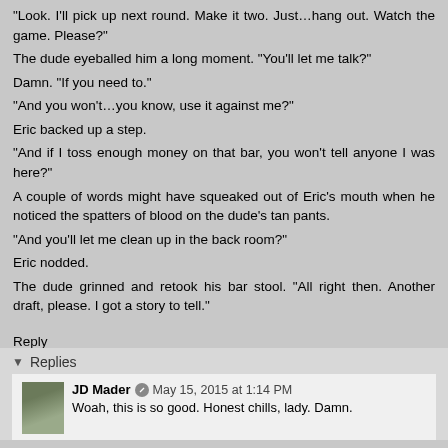“Look. I’ll pick up next round. Make it two. Just…hang out. Watch the game. Please?”
The dude eyeballed him a long moment. “You’ll let me talk?”
Damn. “If you need to.”
“And you won’t…you know, use it against me?”
Eric backed up a step.
“And if I toss enough money on that bar, you won't tell anyone I was here?”
A couple of words might have squeaked out of Eric’s mouth when he noticed the spatters of blood on the dude’s tan pants.
“And you’ll let me clean up in the back room?”
Eric nodded.
The dude grinned and retook his bar stool. “All right then. Another draft, please. I got a story to tell.”
Reply
Replies
JD Mader  May 15, 2015 at 1:14 PM
Woah, this is so good. Honest chills, lady. Damn.